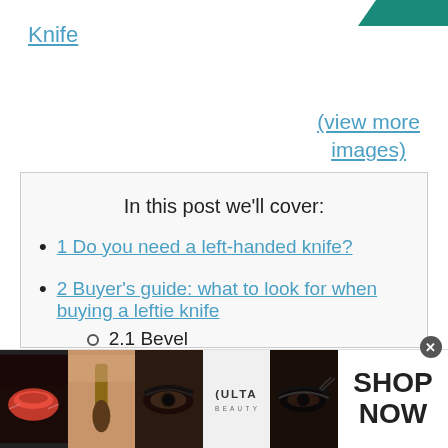Knife
(view more images)
In this post we'll cover:
1 Do you need a left-handed knife?
2 Buyer's guide: what to look for when buying a leftie knife
2.1 Bevel
[Figure (photo): Advertisement banner with makeup/beauty images and ULTA logo with SHOP NOW text]